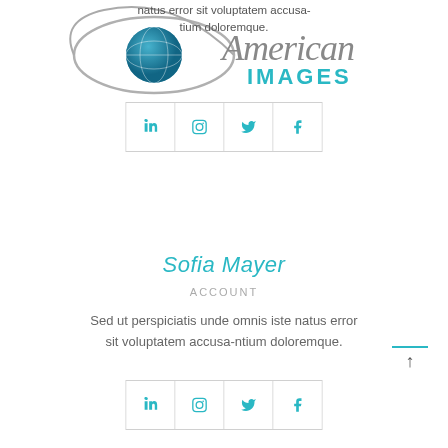natus error sit voluptatem accusa-
tium doloremque.
[Figure (logo): American Images logo with stylized eye and globe, script 'American' text in gray and 'IMAGES' in teal block letters]
[Figure (other): Social media icons bar (top): Vimeo, Instagram, Twitter, Facebook icons in teal on white with gray border]
Sofia Mayer
ACCOUNT
Sed ut perspiciatis unde omnis iste natus error sit voluptatem accusa-ntium doloremque.
[Figure (other): Social media icons bar (bottom, partially visible): Vimeo, Instagram, Twitter, Facebook icons in teal on white with gray border]